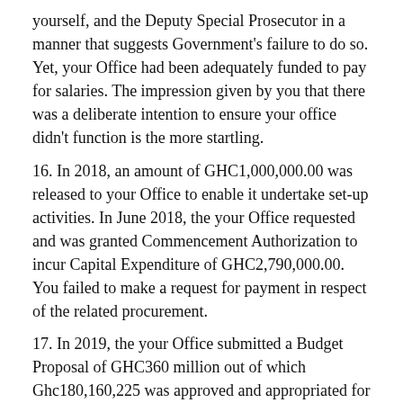yourself, and the Deputy Special Prosecutor in a manner that suggests Government's failure to do so. Yet, your Office had been adequately funded to pay for salaries. The impression given by you that there was a deliberate intention to ensure your office didn't function is the more startling.
16. In 2018, an amount of GHC1,000,000.00 was released to your Office to enable it undertake set-up activities. In June 2018, the your Office requested and was granted Commencement Authorization to incur Capital Expenditure of GHC2,790,000.00. You failed to make a request for payment in respect of the related procurement.
17. In 2019, the your Office submitted a Budget Proposal of GHC360 million out of which Ghc180,160,225 was approved and appropriated for the Office. This amount was higher than the budget of some Ministries in the current Government, and was made up of